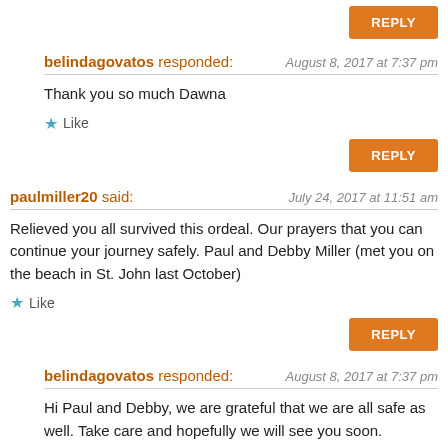REPLY (button, top, partial)
belindagovatos responded: August 8, 2017 at 7:37 pm
Thank you so much Dawna
★ Like
REPLY (button)
paulmiller20 said: July 24, 2017 at 11:51 am
Relieved you all survived this ordeal. Our prayers that you can continue your journey safely. Paul and Debby Miller (met you on the beach in St. John last October)
★ Like
REPLY (button)
belindagovatos responded: August 8, 2017 at 7:37 pm
Hi Paul and Debby, we are grateful that we are all safe as well. Take care and hopefully we will see you soon.